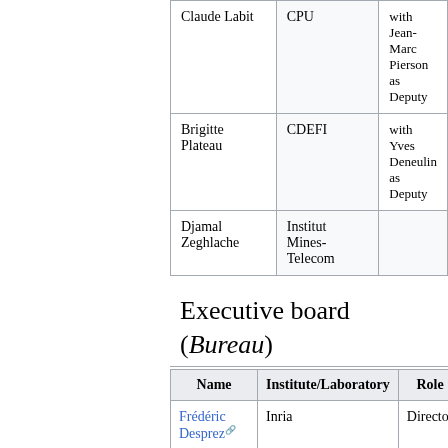| Name | Institute/Laboratory | Role |
| --- | --- | --- |
| Claude Labit | CPU | with Jean-Marc Pierson as Deputy |
| Brigitte Plateau | CDEFI | with Yves Deneulin as Deputy |
| Djamal Zeghlache | Institut Mines-Telecom |  |
Executive board (Bureau)
| Name | Institute/Laboratory | Role |
| --- | --- | --- |
| Frédéric Desprez | Inria | Director |
| Lucas Nussbaum | Université de Lorraine, LORIA | Chief Scientist Nancy |
|  | Inria. On leave from | Chief |